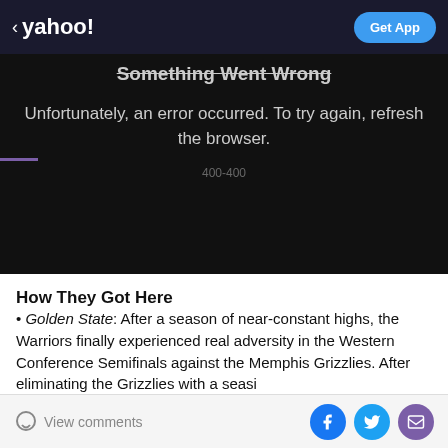< yahoo!   Get App
Something Went Wrong
Unfortunately, an error occurred. To try again, refresh the browser.
400-400
How They Got Here
Golden State: After a season of near-constant highs, the Warriors finally experienced real adversity in the Western Conference Semifinals against the Memphis Grizzlies. After eliminating the Grizzlies with a series...
View comments  [Facebook] [Twitter] [Email]